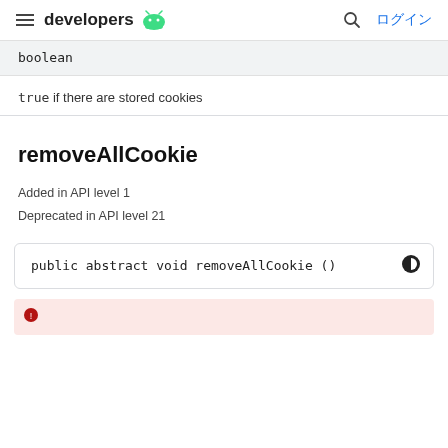developers [Android logo] ログイン
boolean
true if there are stored cookies
removeAllCookie
Added in API level 1
Deprecated in API level 21
public abstract void removeAllCookie ()